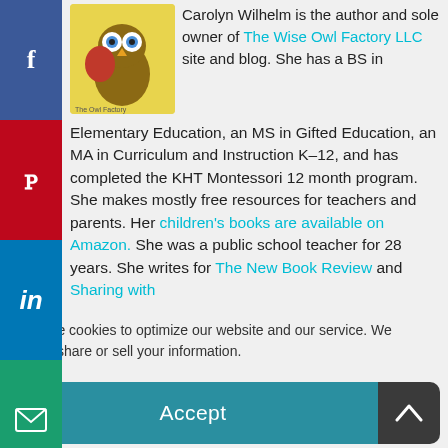[Figure (illustration): Social media sharing sidebar with Facebook (blue), Pinterest (red), LinkedIn (blue), Email (green), WhatsApp (green) buttons stacked vertically on the left edge]
[Figure (photo): The Wise Owl Factory logo showing an owl character with a girl, on a yellow background]
Carolyn Wilhelm is the author and sole owner of The Wise Owl Factory LLC site and blog. She has a BS in Elementary Education, an MS in Gifted Education, an MA in Curriculum and Instruction K-12, and has completed the KHT Montessori 12 month program. She makes mostly free resources for teachers and parents. Her children's books are available on Amazon. She was a public school teacher for 28 years. She writes for The New Book Review and Sharing with...
We use cookies to optimize our website and our service. We never share or sell your information.